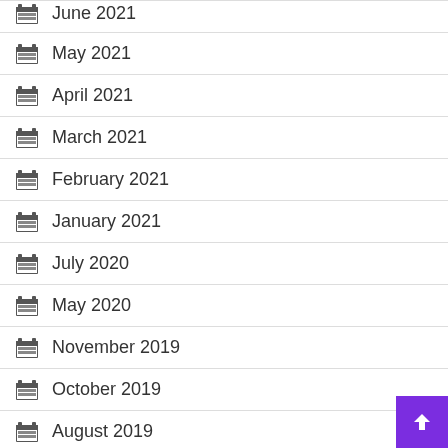June 2021
May 2021
April 2021
March 2021
February 2021
January 2021
July 2020
May 2020
November 2019
October 2019
August 2019
July 2019